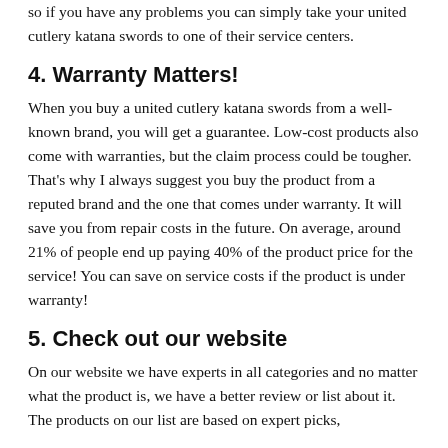so if you have any problems you can simply take your united cutlery katana swords to one of their service centers.
4. Warranty Matters!
When you buy a united cutlery katana swords from a well-known brand, you will get a guarantee. Low-cost products also come with warranties, but the claim process could be tougher. That's why I always suggest you buy the product from a reputed brand and the one that comes under warranty. It will save you from repair costs in the future. On average, around 21% of people end up paying 40% of the product price for the service! You can save on service costs if the product is under warranty!
5. Check out our website
On our website we have experts in all categories and no matter what the product is, we have a better review or list about it. The products on our list are based on expert picks,